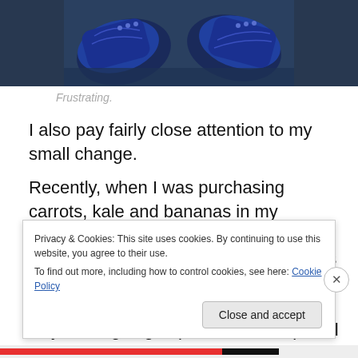[Figure (photo): Top-down view of blue sneaker shoes on a wet surface]
Frustrating.
I also pay fairly close attention to my small change.
Recently, when I was purchasing carrots, kale and bananas in my market's organic department, I needed a penny to complete the transaction. As I was digging through my coin purse, I noticed that I had a wheat penny. No way was I going to part with that special cent, even
Privacy & Cookies: This site uses cookies. By continuing to use this website, you agree to their use.
To find out more, including how to control cookies, see here: Cookie Policy
Close and accept